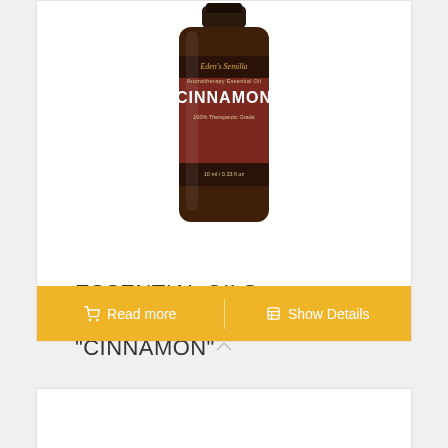[Figure (photo): A small amber glass bottle of Eden's Semilla Aromatherapy Essential Oil - Cinnamon, 100% Therapeutic Grade, 10ml/0.33 fl oz]
ESSENTIAL OILS – THERAPEUTIC GRADE "CINNAMON"
Read more
Show Details